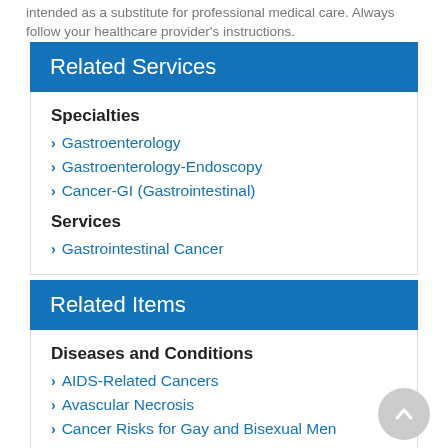intended as a substitute for professional medical care. Always follow your healthcare provider's instructions.
Related Services
Specialties
Gastroenterology
Gastroenterology-Endoscopy
Cancer-GI (Gastrointestinal)
Services
Gastrointestinal Cancer
Related Items
Diseases and Conditions
AIDS-Related Cancers
Avascular Necrosis
Cancer Risks for Gay and Bisexual Men